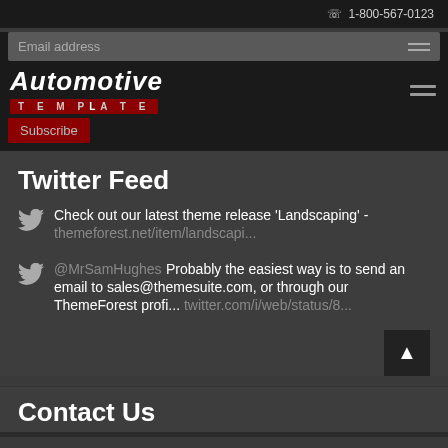1-800-567-0123
[Figure (screenshot): Automotive Template website header with logo, email subscription field, Subscribe button, and hamburger menu]
Twitter Feed
Check out our latest theme release 'Landscaping' - themeforest.net/item/landscapi...
@MrSamHughes Probably the easiest way is to send an email to sales@themesuite.com, or through our ThemeForest profi... twitter.com/i/web/status/8...
Contact Us